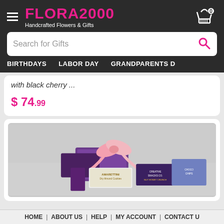FLORA2000 Handcrafted Flowers & Gifts
Search for Gifts
BIRTHDAYS  LABOR DAY  GRANDPARENTS D
with black cherry ...
$ 74.99
[Figure (photo): Gift basket with amarettini cookies, chocolate bar with pink ribbon bow, various snacks on gray background]
HOME | ABOUT US | HELP | MY ACCOUNT | CONTACT U